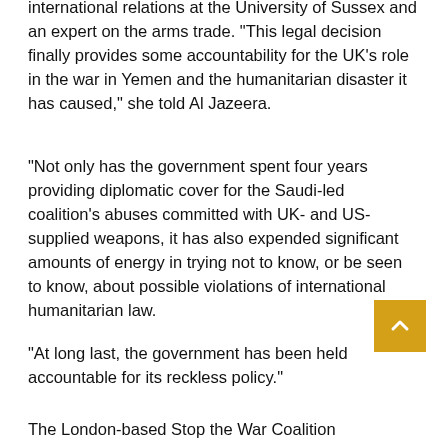international relations at the University of Sussex and an expert on the arms trade. "This legal decision finally provides some accountability for the UK's role in the war in Yemen and the humanitarian disaster it has caused," she told Al Jazeera.
"Not only has the government spent four years providing diplomatic cover for the Saudi-led coalition's abuses committed with UK- and US-supplied weapons, it has also expended significant amounts of energy in trying not to know, or be seen to know, about possible violations of international humanitarian law.
"At long last, the government has been held accountable for its reckless policy."
The London-based Stop the War Coalition